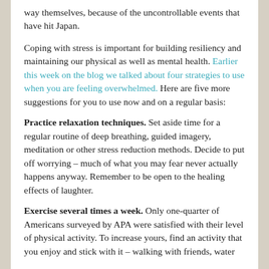way themselves, because of the uncontrollable events that have hit Japan.
Coping with stress is important for building resiliency and maintaining our physical as well as mental health. Earlier this week on the blog we talked about four strategies to use when you are feeling overwhelmed. Here are five more suggestions for you to use now and on a regular basis:
Practice relaxation techniques. Set aside time for a regular routine of deep breathing, guided imagery, meditation or other stress reduction methods. Decide to put off worrying – much of what you may fear never actually happens anyway. Remember to be open to the healing effects of laughter.
Exercise several times a week. Only one-quarter of Americans surveyed by APA were satisfied with their level of physical activity. To increase yours, find an activity that you enjoy and stick with it – walking with friends, water